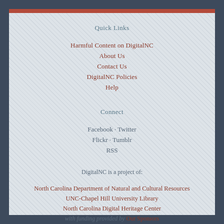Quick Links
Harmful Content on DigitalNC
About Us
Contact Us
DigitalNC Policies
Help
Connect
Facebook · Twitter
Flickr · Tumblr
RSS
DigitalNC is a project of:
North Carolina Department of Natural and Cultural Resources
UNC-Chapel Hill University Library
North Carolina Digital Heritage Center
with funding provided by Our Sponsors